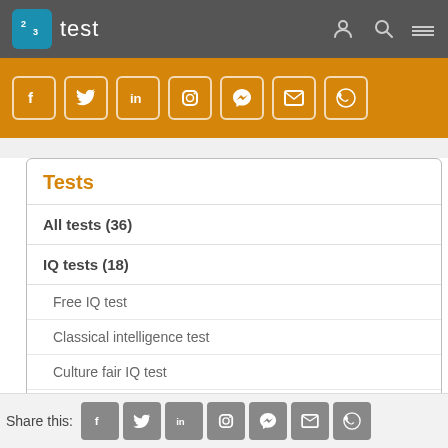test (logo/navigation bar)
[Figure (screenshot): Orange social sharing bar with icons for Facebook, Twitter, LinkedIn, Instagram, Messenger, Email, WhatsApp]
Tests
All tests (36)
IQ tests (18)
Free IQ test
Classical intelligence test
Culture fair IQ test
Assessment training (10)
Share this:
[Figure (screenshot): Share bar with social icons: Facebook, Twitter, LinkedIn, Instagram, Messenger, Email, WhatsApp]